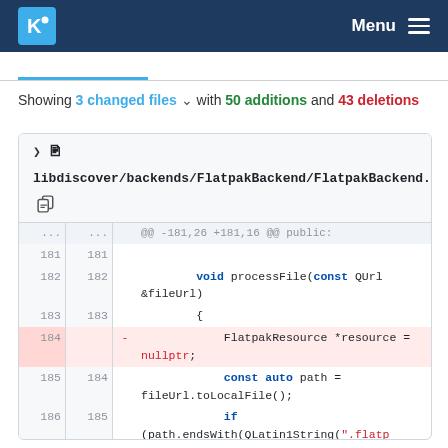KDE Menu
Showing 3 changed files with 50 additions and 43 deletions
[Figure (screenshot): Git diff view showing libdiscover/backends/FlatpakBackend/FlatpakBackend.cpp with code changes around line 181-187, including removal of FlatpakResource *resource = nullptr; and context lines with void processFile, const auto path, and if (path.endsWith) code]
libdiscover/backends/FlatpakBackend/FlatpakBackend.cpp